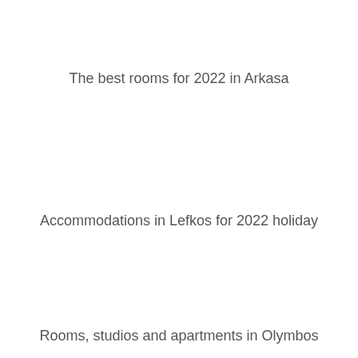The best rooms for 2022 in Arkasa
Accommodations in Lefkos for 2022 holiday
Rooms, studios and apartments in Olymbos